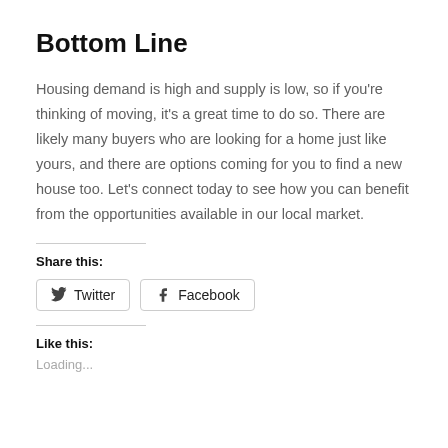Bottom Line
Housing demand is high and supply is low, so if you're thinking of moving, it's a great time to do so. There are likely many buyers who are looking for a home just like yours, and there are options coming for you to find a new house too. Let's connect today to see how you can benefit from the opportunities available in our local market.
Share this:
[Figure (other): Twitter and Facebook share buttons]
Like this:
Loading...